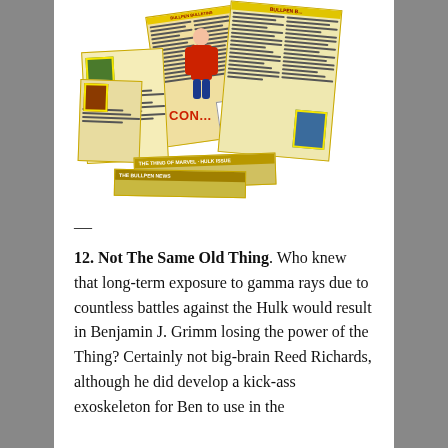[Figure (illustration): Collage of vintage Marvel comic Bullpen Bulletins pages, showing yellow newsprint-style newsletter pages fanned out with red titles, columns of text, a Marvel Value Stamp box, and colorful comic imagery including Conan and other characters.]
—
12. Not The Same Old Thing. Who knew that long-term exposure to gamma rays due to countless battles against the Hulk would result in Benjamin J. Grimm losing the power of the Thing? Certainly not big-brain Reed Richards, although he did develop a kick-ass exoskeleton for Ben to use in the